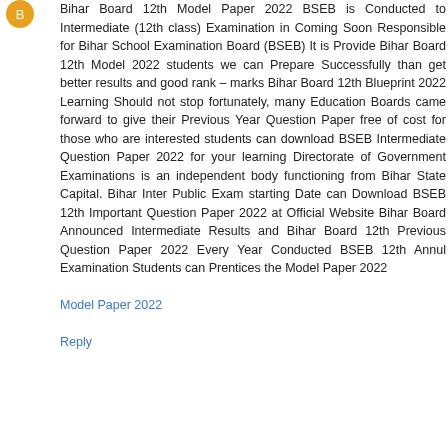Bihar Board 12th Model Paper 2022 BSEB is Conducted to Intermediate (12th class) Examination in Coming Soon Responsible for Bihar School Examination Board (BSEB) It is Provide Bihar Board 12th Model 2022 students we can Prepare Successfully than get better results and good rank – marks Bihar Board 12th Blueprint 2022 Learning Should not stop fortunately, many Education Boards came forward to give their Previous Year Question Paper free of cost for those who are interested students can download BSEB Intermediate Question Paper 2022 for your learning Directorate of Government Examinations is an independent body functioning from Bihar State Capital. Bihar Inter Public Exam starting Date can Download BSEB 12th Important Question Paper 2022 at Official Website Bihar Board Announced Intermediate Results and Bihar Board 12th Previous Question Paper 2022 Every Year Conducted BSEB 12th Annul Examination Students can Prentices the Model Paper 2022
Model Paper 2022
Reply